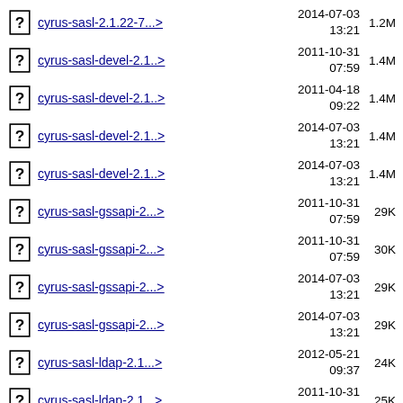cyrus-sasl-2.1.22-7...> 2014-07-03 13:21 1.2M
cyrus-sasl-devel-2.1..> 2011-10-31 07:59 1.4M
cyrus-sasl-devel-2.1..> 2011-04-18 09:22 1.4M
cyrus-sasl-devel-2.1..> 2014-07-03 13:21 1.4M
cyrus-sasl-devel-2.1..> 2014-07-03 13:21 1.4M
cyrus-sasl-gssapi-2...> 2011-10-31 07:59 29K
cyrus-sasl-gssapi-2...> 2011-10-31 07:59 30K
cyrus-sasl-gssapi-2...> 2014-07-03 13:21 29K
cyrus-sasl-gssapi-2...> 2014-07-03 13:21 29K
cyrus-sasl-ldap-2.1...> 2012-05-21 09:37 24K
cyrus-sasl-ldap-2.1...> 2011-10-31 07:59 25K
2014-07-03 (partial)